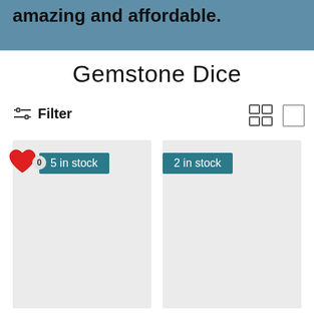amazing and affordable.
Gemstone Dice
Filter
[Figure (screenshot): Product card with heart icon, badge showing 0, and stock label '5 in stock']
[Figure (screenshot): Product card with stock label '2 in stock']